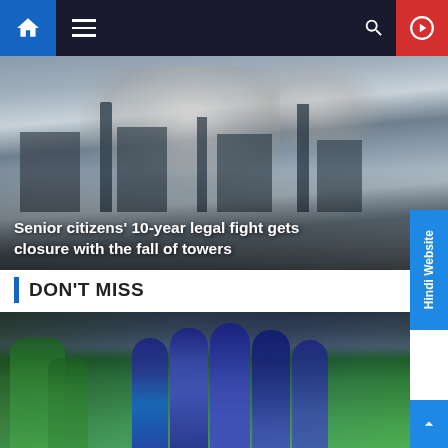[Figure (screenshot): Mobile news website navigation bar with home icon (blue), hamburger menu, search icon, and red play button on dark background]
[Figure (photo): Building demolition with smoke and dust clouds — hero image for news article about senior citizens' legal fight]
Senior citizens' 10-year legal fight gets closure with the fall of towers
DON'T MISS
[Figure (photo): India cricket team players in blue jerseys celebrating on field, high-fiving each other after a wicket, with Pakistan players visible in background]